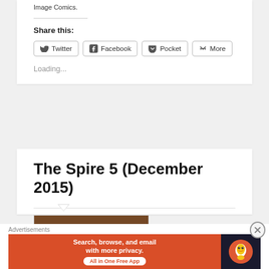Image Comics.
Share this:
Twitter  Facebook  Pocket  More
Loading...
The Spire 5 (December 2015)
[Figure (photo): Book cover thumbnail for The Spire 5]
Advertisements
[Figure (other): DuckDuckGo advertisement banner: Search, browse, and email with more privacy. All in One Free App]